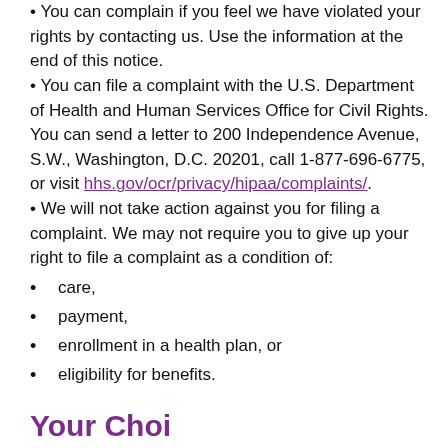You can complain if you feel we have violated your rights by contacting us. Use the information at the end of this notice.
You can file a complaint with the U.S. Department of Health and Human Services Office for Civil Rights. You can send a letter to 200 Independence Avenue, S.W., Washington, D.C. 20201, call 1-877-696-6775, or visit hhs.gov/ocr/privacy/hipaa/complaints/.
We will not take action against you for filing a complaint. We may not require you to give up your right to file a complaint as a condition of:
care,
payment,
enrollment in a health plan, or
eligibility for benefits.
Your Choi…